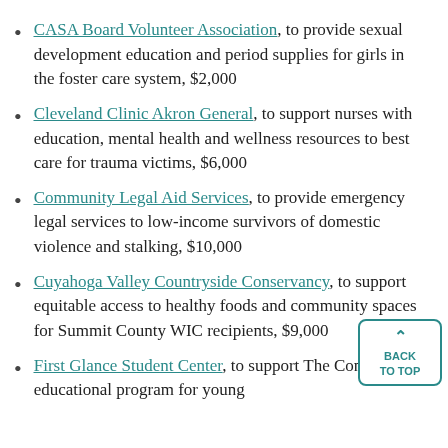CASA Board Volunteer Association, to provide sexual development education and period supplies for girls in the foster care system, $2,000
Cleveland Clinic Akron General, to support nurses with education, mental health and wellness resources to best care for trauma victims, $6,000
Community Legal Aid Services, to provide emergency legal services to low-income survivors of domestic violence and stalking, $10,000
Cuyahoga Valley Countryside Conservancy, to support equitable access to healthy foods and community spaces for Summit County WIC recipients, $9,000
First Glance Student Center, to support The Connect, an educational program for young